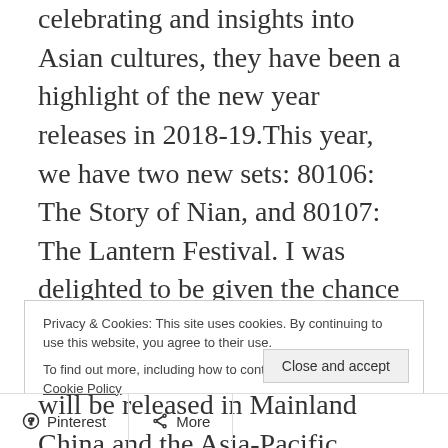celebrating and insights into Asian cultures, they have been a highlight of the new year releases in 2018-19. This year, we have two new sets: 80106: The Story of Nian, and 80107: The Lantern Festival. I was delighted to be given the chance to look at both of these sets ahead of time. The Story of Nian will be released in Mainland China and the Asia-Pacific Markets on January 1 and rest of the world from January 10th, 2021. It will retail for $AUD109.99/USD79.99/GBP59.99/CAD109.99, and has 1067 elements.
Privacy & Cookies: This site uses cookies. By continuing to use this website, you agree to their use. To find out more, including how to control cookies, see here: Cookie Policy
Close and accept
Pinterest  More